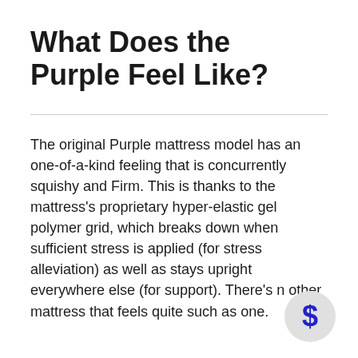What Does the Purple Feel Like?
The original Purple mattress model has an one-of-a-kind feeling that is concurrently squishy and Firm. This is thanks to the mattress's proprietary hyper-elastic gel polymer grid, which breaks down when sufficient stress is applied (for stress alleviation) as well as stays upright everywhere else (for support). There's no other mattress that feels quite such as this one.